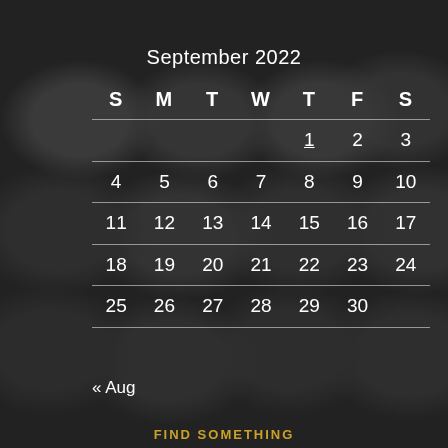September 2022
| S | M | T | W | T | F | S |
| --- | --- | --- | --- | --- | --- | --- |
|  |  |  |  | 1 | 2 | 3 |
| 4 | 5 | 6 | 7 | 8 | 9 | 10 |
| 11 | 12 | 13 | 14 | 15 | 16 | 17 |
| 18 | 19 | 20 | 21 | 22 | 23 | 24 |
| 25 | 26 | 27 | 28 | 29 | 30 |  |
« Aug
FIND SOMETHING